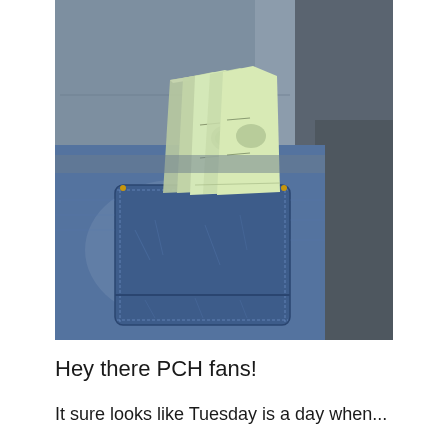[Figure (photo): Close-up photograph of a person wearing blue denim jeans and a grey shirt. Several folded US $100 bills are sticking out of the back pocket of the jeans.]
Hey there PCH fans!
It sure looks like Tuesday is a day when...